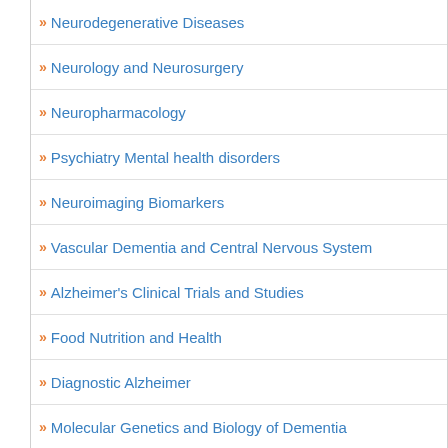» Neurodegenerative Diseases
» Neurology and Neurosurgery
» Neuropharmacology
» Psychiatry Mental health disorders
» Neuroimaging Biomarkers
» Vascular Dementia and Central Nervous System
» Alzheimer's Clinical Trials and Studies
» Food Nutrition and Health
» Diagnostic Alzheimer
» Molecular Genetics and Biology of Dementia
✔ To share your views and research, please click h... register for the Conference.
To Collaborate Scientific Professionals around World